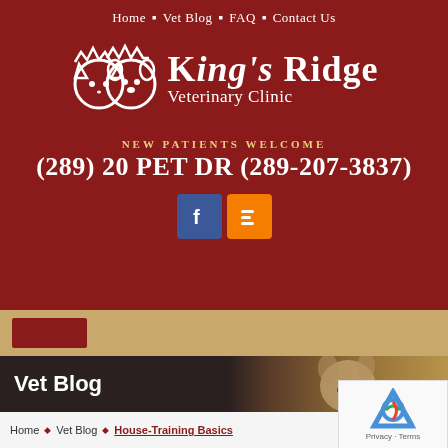Home • Vet Blog • FAQ • Contact Us
[Figure (logo): King's Ridge Veterinary Clinic logo with cat and dog icon wearing crowns]
NEW PATIENTS WELCOME
(289) 20 PET DR (289-207-3837)
[Figure (other): Facebook and Blogger social media icons]
[Figure (other): Tan navigation strip with dark red tab]
[Figure (photo): Vet Blog hero banner with kitten photo and dark overlay]
Vet Blog
Home • Vet Blog • House-Training Basics